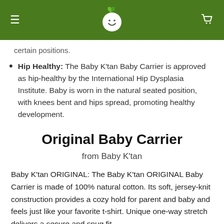Baby K'tan website header with logo, hamburger menu, and cart icon
certain positions.
Hip Healthy: The Baby K'tan Baby Carrier is approved as hip-healthy by the International Hip Dysplasia Institute. Baby is worn in the natural seated position, with knees bent and hips spread, promoting healthy development.
Original Baby Carrier
from Baby K'tan
Baby K'tan ORIGINAL: The Baby K'tan ORIGINAL Baby Carrier is made of 100% natural cotton. Its soft, jersey-knit construction provides a cozy hold for parent and baby and feels just like your favorite t-shirt. Unique one-way stretch delivers a secure and snug fit.